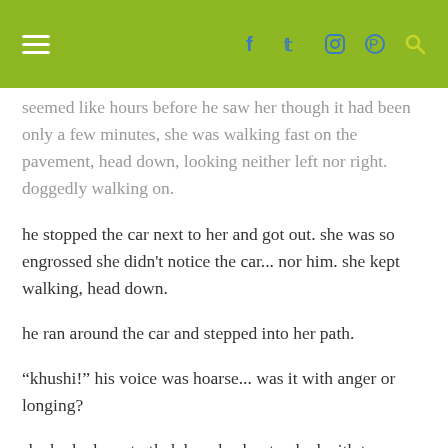≡  f  🐦  ◻  ℗  🔍
seemed like hours before he saw her though it had been only a few minutes, she was walking fast on the pavement, head down, looking neither left nor right. doggedly walking on.
he stopped the car next to her and got out. she was so engrossed she didn't notice the car... nor him. she kept walking, head down.
he ran around the car and stepped into her path.
“khushi!” his voice was hoarse... was it with anger or longing?
she looked up startled, her cheeks streaked with tears, a stricken look in her eyes. so so